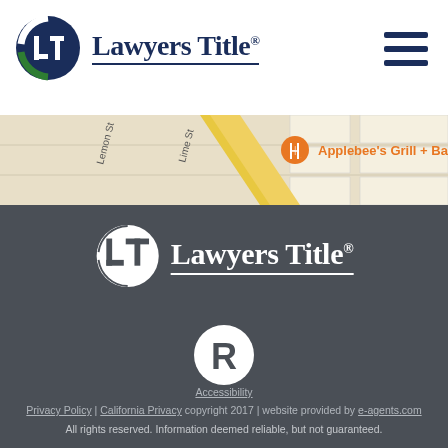[Figure (logo): Lawyers Title logo with LT circular icon and company name in dark navy blue serif font]
[Figure (other): Hamburger menu icon (three horizontal dark navy lines)]
[Figure (map): Street map showing Lemon St, Lime St, 5th St, 6th St with Applebee's Grill + Bar pin marker in orange]
[Figure (logo): Lawyers Title white logo on dark gray background]
[Figure (other): Registered trademark R badge circle icon in white on dark gray background]
Accessibility
Privacy Policy | California Privacy copyright 2017 | website provided by e-agents.com
All rights reserved. Information deemed reliable, but not guaranteed.